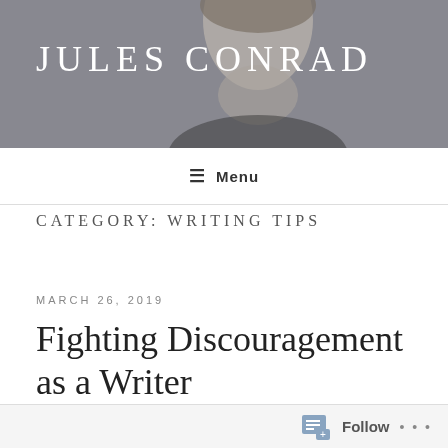JULES CONRAD
Menu
CATEGORY: WRITING TIPS
MARCH 26, 2019
Fighting Discouragement as a Writer
Follow ...